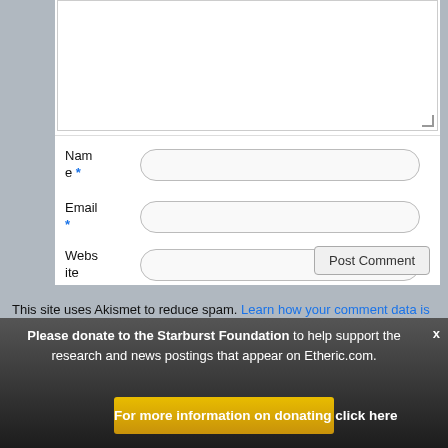[Figure (screenshot): Web form screenshot showing a comment textarea, Name, Email, Website fields with a Post Comment button]
This site uses Akismet to reduce spam. Learn how your comment data is processed.
Please donate to the Starburst Foundation to help support the research and news postings that appear on Etheric.com.
For more information on donating click here